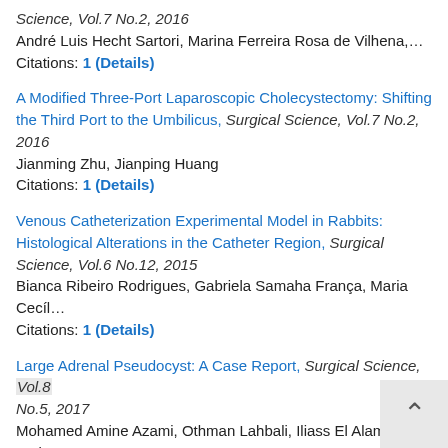Science, Vol.7 No.2, 2016
André Luis Hecht Sartori, Marina Ferreira Rosa de Vilhena,…
Citations: 1 (Details)
A Modified Three-Port Laparoscopic Cholecystectomy: Shifting the Third Port to the Umbilicus, Surgical Science, Vol.7 No.2, 2016
Jianming Zhu, Jianping Huang
Citations: 1 (Details)
Venous Catheterization Experimental Model in Rabbits: Histological Alterations in the Catheter Region, Surgical Science, Vol.6 No.12, 2015
Bianca Ribeiro Rodrigues, Gabriela Samaha França, Maria Cecíl…
Citations: 1 (Details)
Large Adrenal Pseudocyst: A Case Report, Surgical Science, Vol.8 No.5, 2017
Mohamed Amine Azami, Othman Lahbali, Iliass El Alami, El Amin…